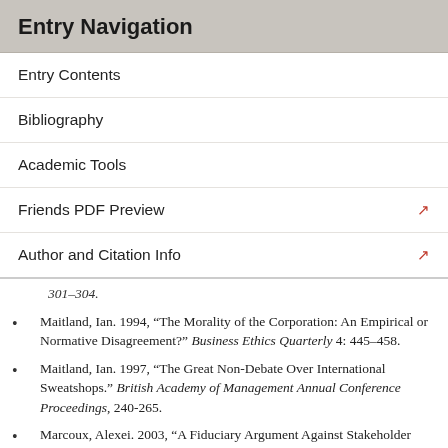Entry Navigation
Entry Contents
Bibliography
Academic Tools
Friends PDF Preview
Author and Citation Info
301–304.
Maitland, Ian. 1994, “The Morality of the Corporation: An Empirical or Normative Disagreement?” Business Ethics Quarterly 4: 445–458.
Maitland, Ian. 1997, “The Great Non-Debate Over International Sweatshops.” British Academy of Management Annual Conference Proceedings, 240-265.
Marcoux, Alexei. 2003, “A Fiduciary Argument Against Stakeholder Theory.” Business Ethics…